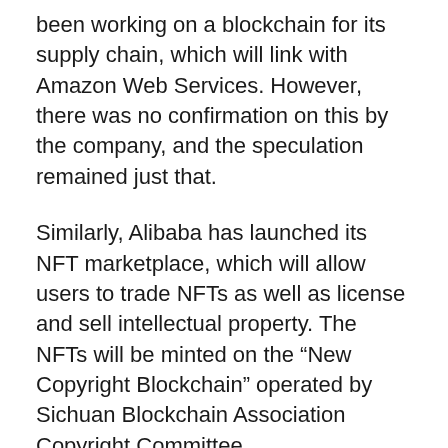been working on a blockchain for its supply chain, which will link with Amazon Web Services. However, there was no confirmation on this by the company, and the speculation remained just that.
Similarly, Alibaba has launched its NFT marketplace, which will allow users to trade NFTs as well as license and sell intellectual property. The NFTs will be minted on the “New Copyright Blockchain” operated by Sichuan Blockchain Association Copyright Committee.
The company will enable content creators to copyright anything and sell the rights (tokens) over the blockchain. The platform will also employ tokenization throughout the system, and the content